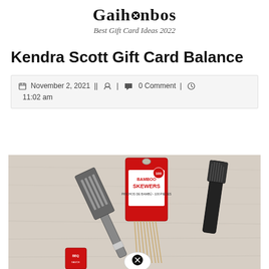Gaihanbos
Best Gift Card Ideas 2022
Kendra Scott Gift Card Balance
November 2, 2021 || [user icon] | [comment icon] 0 Comment | [clock icon] 11:02 am
[Figure (photo): Photo of BBQ/grilling items including a spatula, bamboo skewers package, a black brush, and other kitchen/grill accessories laid on a light fabric background.]